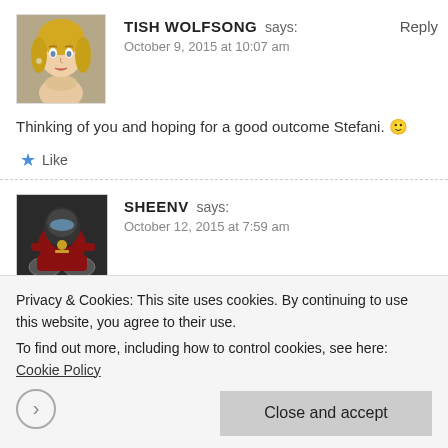[Figure (photo): Avatar of commenter Tish Wolfsong — a stylized/virtual blond female character]
TISH WOLFSONG says:
October 9, 2015 at 10:07 am
Thinking of you and hoping for a good outcome Stefani. 🙂
★ Like
Reply
[Figure (photo): Avatar of commenter Sheenv — a stylized armored character on a motorcycle]
SHEENV says:
October 12, 2015 at 7:59 am
Have you checked to see if there's a support group in your area that you could attend, such as http://www.ren.org? When I first started to deal with my interest in crossdressing, I found going to support group meetings to be very helpful. It was very helpful to me to interact with others in a safe and supportive setting, all of whom had or have the same
Privacy & Cookies: This site uses cookies. By continuing to use this website, you agree to their use.
To find out more, including how to control cookies, see here: Cookie Policy
Close and accept